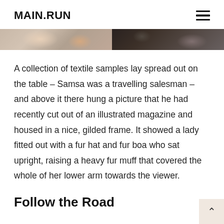MAIN.RUN
[Figure (photo): Two-panel image strip: left panel shows textiles/fabric in warm beige and orange tones, right panel shows dark background with partial object in shadow]
A collection of textile samples lay spread out on the table – Samsa was a travelling salesman – and above it there hung a picture that he had recently cut out of an illustrated magazine and housed in a nice, gilded frame. It showed a lady fitted out with a fur hat and fur boa who sat upright, raising a heavy fur muff that covered the whole of her lower arm towards the viewer.
Follow the Road